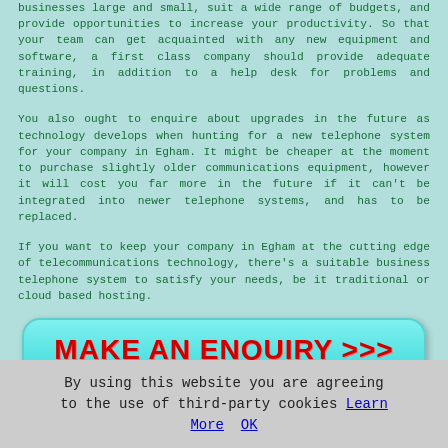businesses large and small, suit a wide range of budgets, and provide opportunities to increase your productivity. So that your team can get acquainted with any new equipment and software, a first class company should provide adequate training, in addition to a help desk for problems and questions.
You also ought to enquire about upgrades in the future as technology develops when hunting for a new telephone system for your company in Egham. It might be cheaper at the moment to purchase slightly older communications equipment, however it will cost you far more in the future if it can't be integrated into newer telephone systems, and has to be replaced.
If you want to keep your company in Egham at the cutting edge of telecommunications technology, there's a suitable business telephone system to satisfy your needs, be it traditional or cloud based hosting.
[Figure (other): Call-to-action button with text 'MAKE AN ENQUIRY >>>' in bold red text on a teal/cyan rounded rectangle button]
By using this website you are agreeing to the use of third-party cookies Learn More  OK